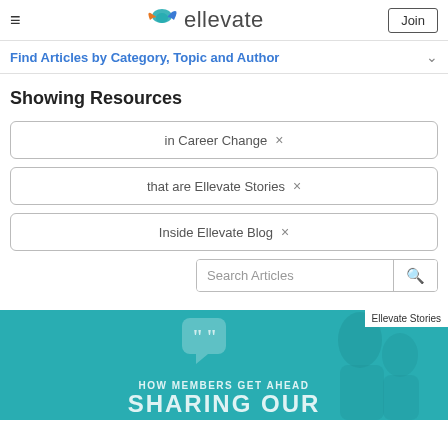ellevate — Join
Find Articles by Category, Topic and Author
Showing Resources
in Career Change ×
that are Ellevate Stories ×
Inside Ellevate Blog ×
Search Articles
[Figure (photo): Teal/cyan card image with quote bubble icon and text: HOW MEMBERS GET AHEAD / SHARING OUR. Labeled 'Ellevate Stories'.]